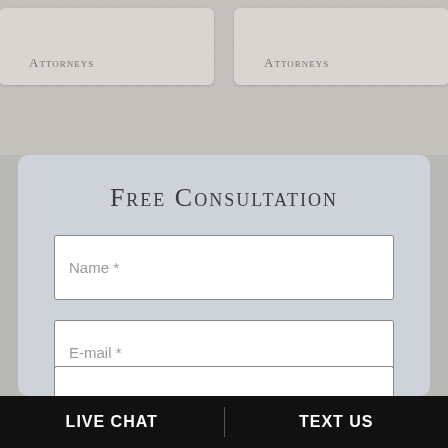Attorneys
Attorneys
Free Consultation
Name *
E-mail *
Phone *
LIVE CHAT    TEXT US